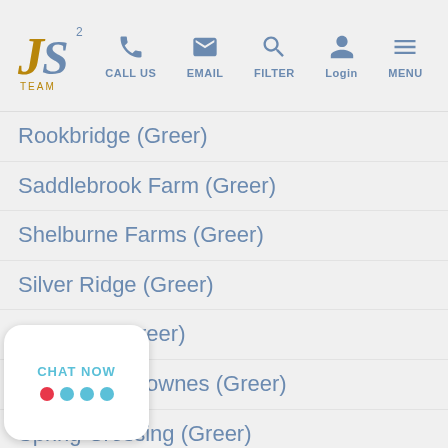JS Team — CALL US | EMAIL | FILTER | Login | MENU
Rookbridge (Greer)
Saddlebrook Farm (Greer)
Shelburne Farms (Greer)
Silver Ridge (Greer)
Silverleaf (Greer)
South Main Townes (Greer)
Spring Crossing (Greer)
Spring Hill (Greer)
St James Place (Greer)
Stillwaters Of Lake Robinson (Greer)
S...ld Cottages (Greer)
...Branch (Greer)